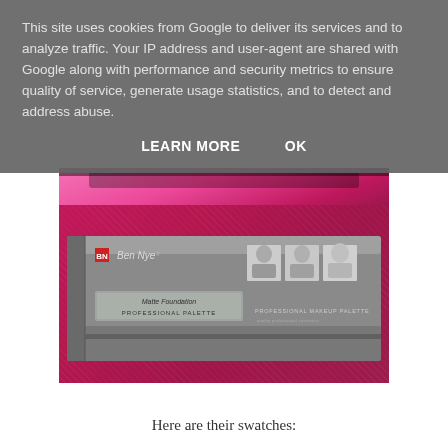This site uses cookies from Google to deliver its services and to analyze traffic. Your IP address and user-agent are shared with Google along with performance and security metrics to ensure quality of service, generate usage statistics, and to detect and address abuse.
LEARN MORE    OK
[Figure (photo): Two product photos of a Ben Nye Matte Foundation Professional Palette makeup kit shown on a bright pink/magenta background. The palette box is silver/grey and shows the Ben Nye logo, three black-and-white portrait photos, and text reading 'Matte Foundation Professional Palette' on the box.]
Here are their swatches: